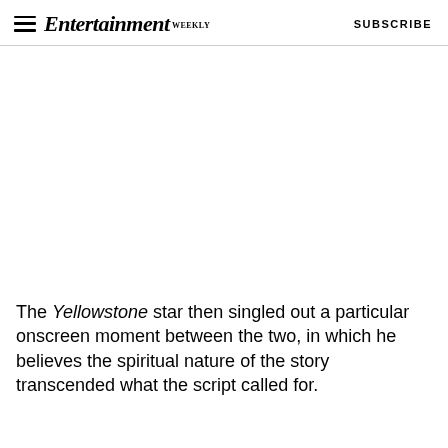Entertainment Weekly  SUBSCRIBE
[Figure (other): Empty white advertisement/image space]
The Yellowstone star then singled out a particular onscreen moment between the two, in which he believes the spiritual nature of the story transcended what the script called for.